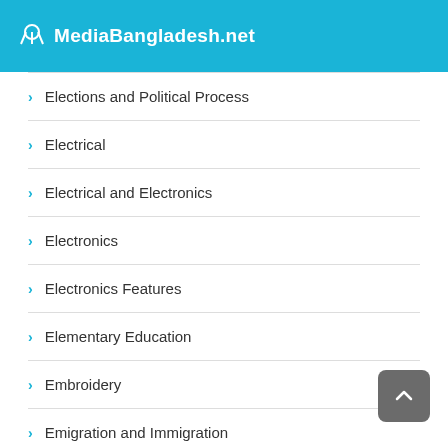MediaBangladesh.net
Elections and Political Process
Electrical
Electrical and Electronics
Electronics
Electronics Features
Elementary Education
Embroidery
Emigration and Immigration
Emotions